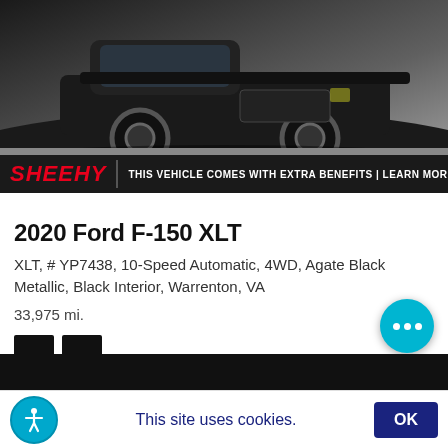[Figure (photo): Black Ford F-150 XLT truck photographed from front-left angle on grey background]
[Figure (logo): Sheehy dealer banner with red italic SHEEHY logo and text: THIS VEHICLE COMES WITH EXTRA BENEFITS | LEARN MORE ▶]
2020 Ford F-150 XLT
XLT, # YP7438, 10-Speed Automatic, 4WD, Agate Black Metallic, Black Interior, Warrenton, VA
33,975 mi.
[Figure (other): Two black color swatches]
[Figure (logo): SHOW ME THE CARFAX 1OWNER badge]
Sheehy Easy Price  $4...
This site uses cookies.